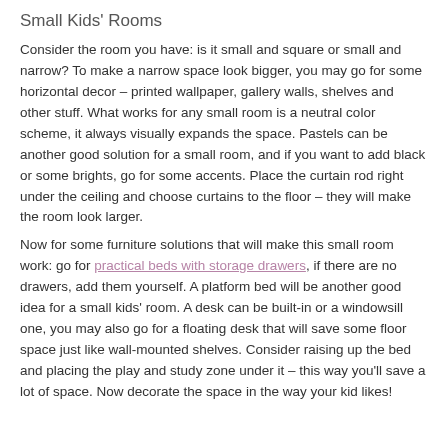Small Kids' Rooms
Consider the room you have: is it small and square or small and narrow? To make a narrow space look bigger, you may go for some horizontal decor – printed wallpaper, gallery walls, shelves and other stuff. What works for any small room is a neutral color scheme, it always visually expands the space. Pastels can be another good solution for a small room, and if you want to add black or some brights, go for some accents. Place the curtain rod right under the ceiling and choose curtains to the floor – they will make the room look larger.
Now for some furniture solutions that will make this small room work: go for practical beds with storage drawers, if there are no drawers, add them yourself. A platform bed will be another good idea for a small kids' room. A desk can be built-in or a windowsill one, you may also go for a floating desk that will save some floor space just like wall-mounted shelves. Consider raising up the bed and placing the play and study zone under it – this way you'll save a lot of space. Now decorate the space in the way your kid likes!